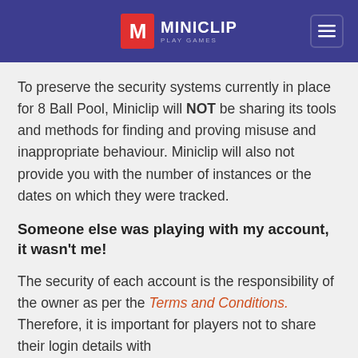MINICLIP PLAY GAMES
To preserve the security systems currently in place for 8 Ball Pool, Miniclip will NOT be sharing its tools and methods for finding and proving misuse and inappropriate behaviour. Miniclip will also not provide you with the number of instances or the dates on which they were tracked.
Someone else was playing with my account, it wasn't me!
The security of each account is the responsibility of the owner as per the Terms and Conditions. Therefore, it is important for players not to share their login details with